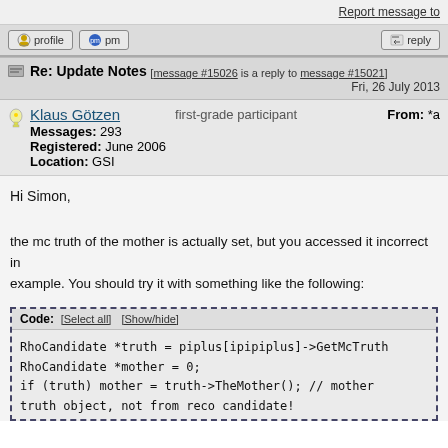Report message to
[Figure (screenshot): Forum button bar with profile, pm, reply icons]
Re: Update Notes [message #15026 is a reply to message #15021] Fri, 26 July 2013
Klaus Götzen  first-grade participant  From: *a  Messages: 293  Registered: June 2006  Location: GSI
Hi Simon,
the mc truth of the mother is actually set, but you accessed it incorrect in example. You should try it with something like the following:
Code: [Select all] [Show/hide]
    RhoCandidate *truth  = piplus[ipipiplus]->GetMcTruth
    RhoCandidate *mother = 0;
    if (truth) mother = truth->TheMother();  // mother
truth object, not from reco candidate!